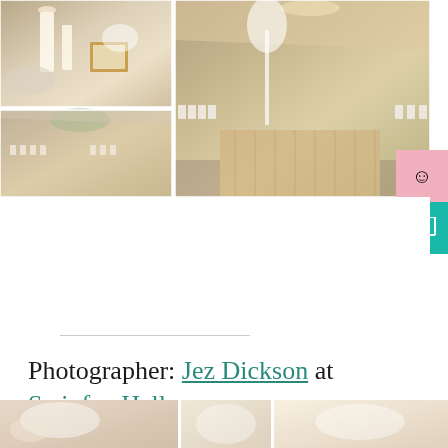[Figure (photo): Wedding reception photo collage: top-left shows elegant table centerpiece with candles and flowers in glass vases with gold-framed photo; top-right and center shows large ballroom with white chair covers with pink sashes, tall white floral arrangements, and wooden dance floor; bottom-left shows wedding reception hall with tables and pink sashed chairs]
Photographer: Jez Dickson at Swinfen Hall
[Figure (photo): Bottom strip of wedding photos: floral arrangements and wedding ceremony scenes]